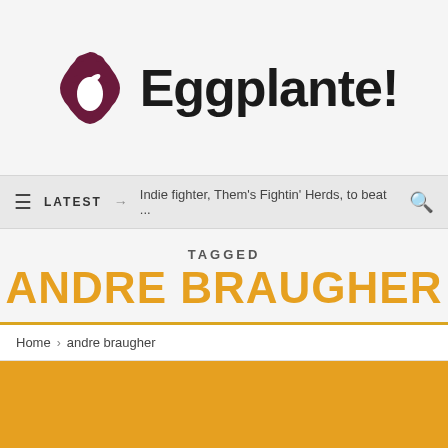[Figure (logo): Eggplante! website logo with a dark maroon badge/seal icon containing a white eggplant, followed by bold black text 'Eggplante!']
LATEST → Indie fighter, Them's Fightin' Herds, to beat ...
TAGGED
ANDRE BRAUGHER
Home > andre braugher
[Figure (other): Solid amber/orange-yellow rectangle area, appears to be a content card image placeholder]